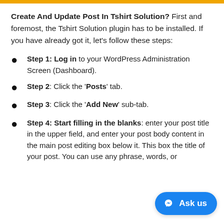Create And Update Post In Tshirt Solution? First and foremost, the Tshirt Solution plugin has to be installed. If you have already got it, let's follow these steps:
Step 1: Log in to your WordPress Administration Screen (Dashboard).
Step 2: Click the 'Posts' tab.
Step 3: Click the 'Add New' sub-tab.
Step 4: Start filling in the blanks: enter your post title in the upper field, and enter your post body content in the main post editing box below it. This box the title of your post. You can use any phrase, words, or